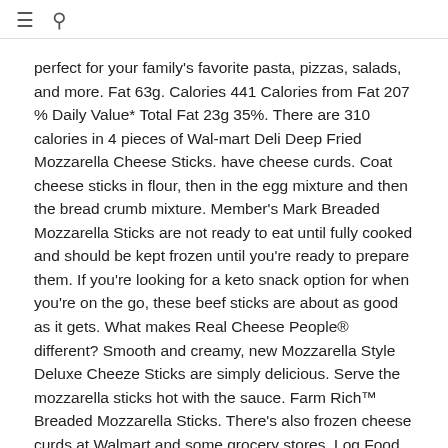≡ 🔍
perfect for your family's favorite pasta, pizzas, salads, and more. Fat 63g. Calories 441 Calories from Fat 207 % Daily Value* Total Fat 23g 35%. There are 310 calories in 4 pieces of Wal-mart Deli Deep Fried Mozzarella Cheese Sticks. have cheese curds. Coat cheese sticks in flour, then in the egg mixture and then the bread crumb mixture. Member's Mark Breaded Mozzarella Sticks are not ready to eat until fully cooked and should be kept frozen until you're ready to prepare them. If you're looking for a keto snack option for when you're on the go, these beef sticks are about as good as it gets. What makes Real Cheese People® different? Smooth and creamy, new Mozzarella Style Deluxe Cheeze Sticks are simply delicious. Serve the mozzarella sticks hot with the sauce. Farm Rich™ Breaded Mozzarella Sticks. There's also frozen cheese curds at Walmart and some grocery stores. Log Food. 32 % 7g Fat. 180 / 2,000 cal left. Sometimes, ... the Flip Jar is on sale for $27.40 as a set of two and can be purchased through the Walmart website. 561 Followers, 2,251 Following, 81 Posts - See Instagram photos and videos from mario